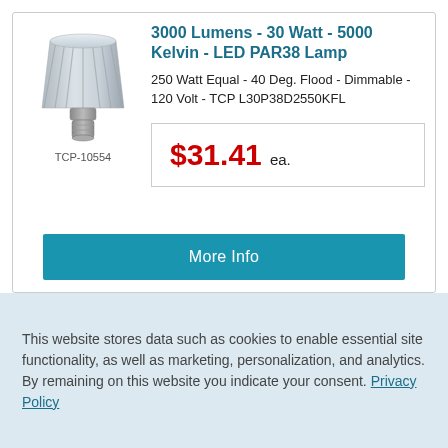[Figure (photo): LED PAR38 lamp bulb, silver/white color with E26 base]
TCP-10554
3000 Lumens - 30 Watt - 5000 Kelvin - LED PAR38 Lamp
250 Watt Equal - 40 Deg. Flood - Dimmable - 120 Volt - TCP L30P38D2550KFL
$31.41 ea.
More Info
This website stores data such as cookies to enable essential site functionality, as well as marketing, personalization, and analytics. By remaining on this website you indicate your consent. Privacy Policy